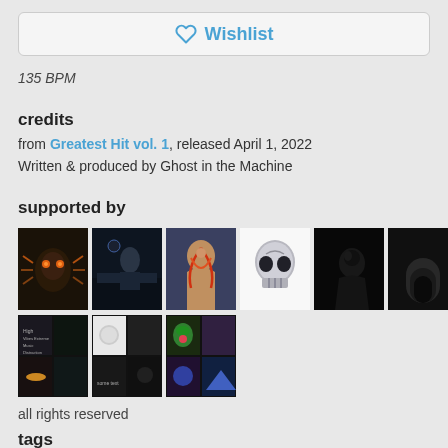♡ Wishlist
135 BPM
credits
from Greatest Hit vol. 1, released April 1, 2022
Written & produced by Ghost in the Machine
supported by
[Figure (photo): Grid of supporter profile thumbnails, two rows: row 1 has 6 images (robotic insect, person at desk, woman with body art, metallic skull, dark hooded figure, dark arch shape), row 2 has 3 images (collage of album art, two small images, two small images)]
all rights reserved
tags